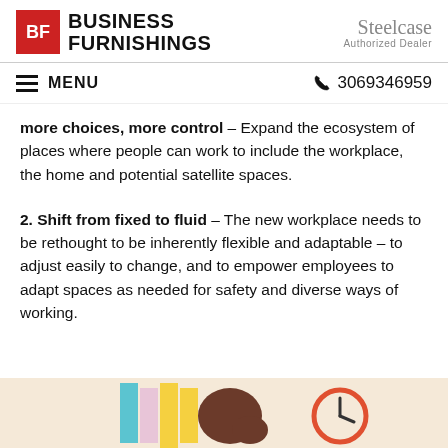BUSINESS FURNISHINGS | Steelcase Authorized Dealer
MENU  3069346959
more choices, more control – Expand the ecosystem of places where people can work to include the workplace, the home and potential satellite spaces.
2. Shift from fixed to fluid – The new workplace needs to be rethought to be inherently flexible and adaptable – to adjust easily to change, and to empower employees to adapt spaces as needed for safety and diverse ways of working.
[Figure (illustration): Partial illustration strip at bottom showing cartoon figures and a clock icon on a warm beige background]